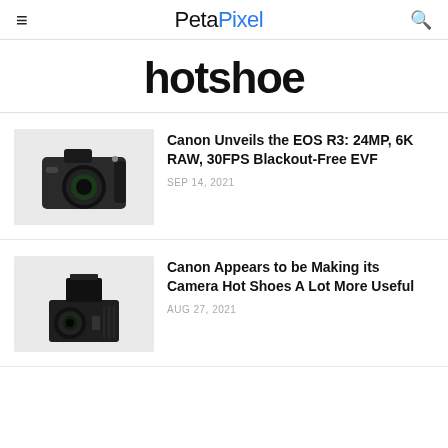PetaPixel
hotshoe
[Figure (photo): Canon EOS R3 DSLR camera with large lens, on light gray background]
Canon Unveils the EOS R3: 24MP, 6K RAW, 30FPS Blackout-Free EVF
SEP 14, 2021
[Figure (photo): Canon cinema camera with hotshoe accessory attached on top, on light gray background]
Canon Appears to be Making its Camera Hot Shoes A Lot More Useful
AUG 27, 2021